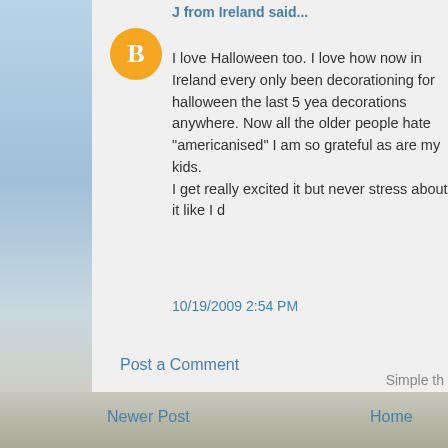J from Ireland said...
I love Halloween too. I love how now in Ireland every only been decorationing for halloween the last 5 yea decorations anywhere. Now all the older people hate "americanised" I am so grateful as are my kids. I get really excited it but never stress about it like I d
10/19/2009 2:54 PM
Post a Comment
Newer Post
Home
Subscribe to: Post Comments (Atom)
Simple th